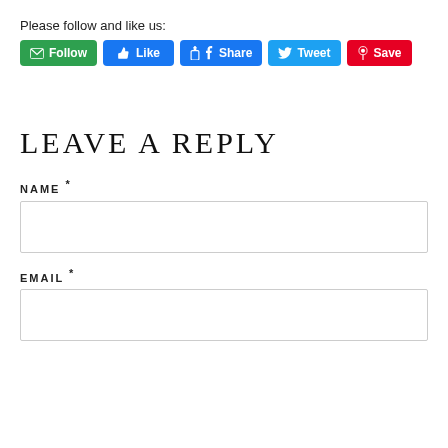Please follow and like us:
[Figure (screenshot): Social media buttons row: Follow (green), Like (blue), Share (Facebook blue), Tweet (Twitter blue), Save (Pinterest red)]
LEAVE A REPLY
NAME *
EMAIL *